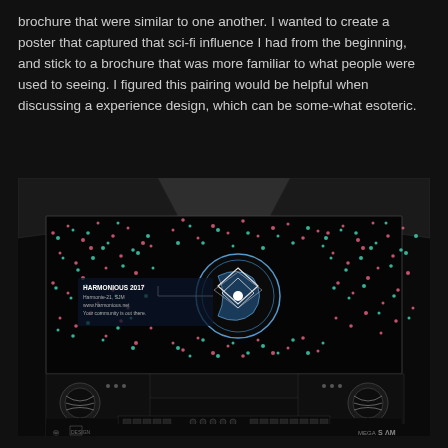brochure that were similar to one another. I wanted to create a poster that captured that sci-fi influence I had from the beginning, and stick to a brochure that was more familiar to what people were used to seeing. I figured this pairing would be helpful when discussing a experience design, which can be some-what esoteric.
[Figure (illustration): A sci-fi themed poster showing a spaceship cockpit view looking out into a star field with pink and cyan dots. In the center is a circular emblem with diamond pattern and a white dot. Text reads 'HARMONIOUS 2017' with event details. Bottom shows cockpit controls and panels. Logos at bottom left, 'MEGA SAM' at bottom right.]